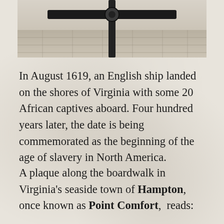[Figure (photo): Photograph of a black metal directional sign post mounted on a tiled boardwalk or plaza, viewed from below against a light background. The sign has horizontal arms extending left and right from a central vertical post with a round connector.]
In August 1619, an English ship landed on the shores of Virginia with some 20 African captives aboard. Four hundred years later, the date is being commemorated as the beginning of the age of slavery in North America.
A plaque along the boardwalk in Virginia's seaside town of Hampton, once known as Point Comfort, reads: